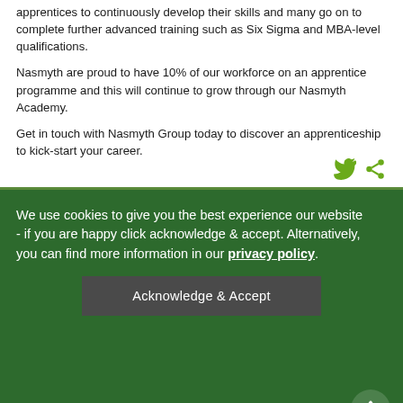apprentices to continuously develop their skills and many go on to complete further advanced training such as Six Sigma and MBA-level qualifications.
Nasmyth are proud to have 10% of our workforce on an apprentice programme and this will continue to grow through our Nasmyth Academy.
Get in touch with Nasmyth Group today to discover an apprenticeship to kick-start your career.
We use cookies to give you the best experience our website - if you are happy click acknowledge & accept. Alternatively, you can find more information in our privacy policy.
Acknowledge & Accept